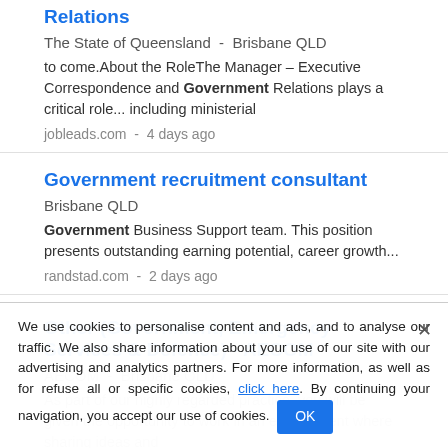Relations
The State of Queensland  -  Brisbane QLD
to come.About the RoleThe Manager – Executive Correspondence and Government Relations plays a critical role... including ministerial
jobleads.com  -  4 days ago
Government recruitment consultant
Brisbane QLD
Government Business Support team. This position presents outstanding earning potential, career growth...
randstad.com  -  2 days ago
Other (Government, Emergency Services & Defence) - AECOM
AECOM  -  Brisbane QLD
As part of our highly regarded practice, you will be given the opportunity to work in an environment where sharing ideas and
jobsurf.com.au  -  2 days ago
We use cookies to personalise content and ads, and to analyse our traffic. We also share information about your use of our site with our advertising and analytics partners. For more information, as well as for refuse all or specific cookies, click here. By continuing your navigation, you accept our use of cookies.